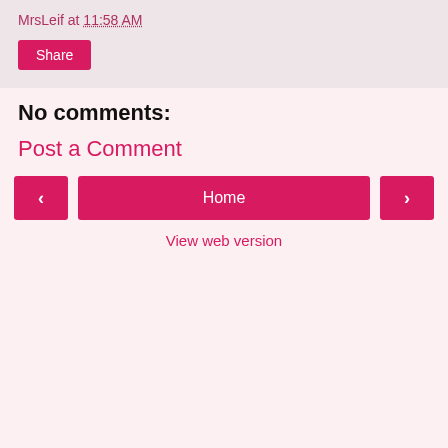MrsLeif at 11:58 AM
Share
No comments:
Post a Comment
‹
Home
›
View web version